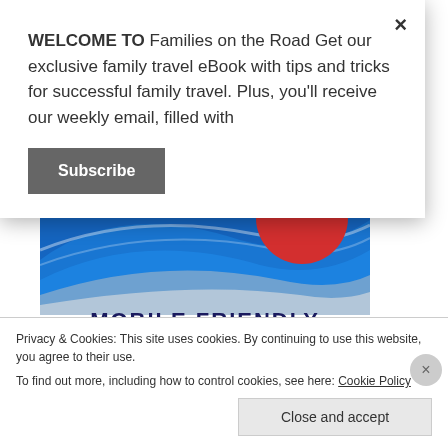WELCOME TO Families on the Road Get our exclusive family travel eBook with tips and tricks for successful family travel. Plus, you'll receive our weekly email, filled with
Subscribe
[Figure (illustration): Blue swoosh banner with a red circle badge showing FREE text, and MOBILE FRIENDLY text below]
Privacy & Cookies: This site uses cookies. By continuing to use this website, you agree to their use.
To find out more, including how to control cookies, see here: Cookie Policy
Close and accept